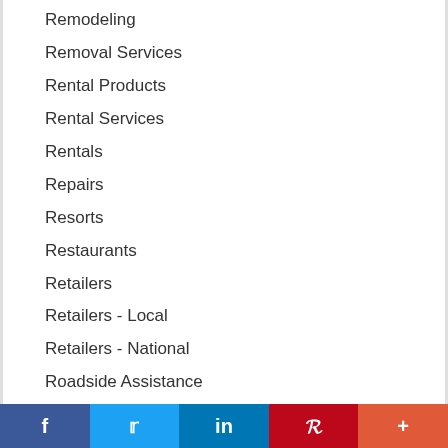Remodeling
Removal Services
Rental Products
Rental Services
Rentals
Repairs
Resorts
Restaurants
Retailers
Retailers - Local
Retailers - National
Roadside Assistance
Roofing
RVs